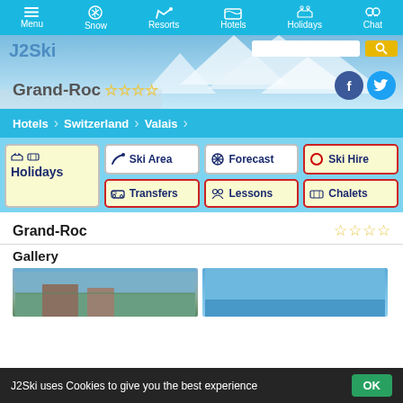Menu | Snow | Resorts | Hotels | Holidays | Chat
Grand-Roc ☆☆☆☆
Hotels > Switzerland > Valais
Ski Area
Forecast
Ski Hire
Holidays
Transfers
Lessons
Chalets
Grand-Roc
Gallery
[Figure (photo): Gallery images of Grand-Roc hotel]
J2Ski uses Cookies to give you the best experience  OK